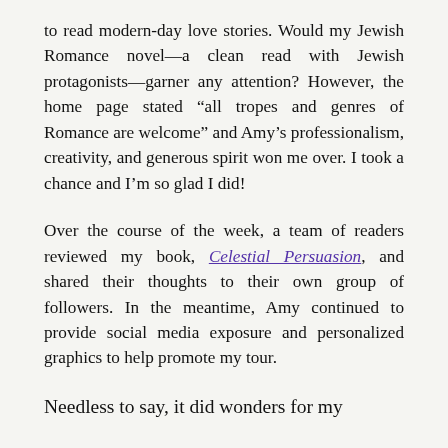to read modern-day love stories. Would my Jewish Romance novel—a clean read with Jewish protagonists—garner any attention? However, the home page stated “all tropes and genres of Romance are welcome” and Amy’s professionalism, creativity, and generous spirit won me over. I took a chance and I’m so glad I did!
Over the course of the week, a team of readers reviewed my book, Celestial Persuasion, and shared their thoughts to their own group of followers. In the meantime, Amy continued to provide social media exposure and personalized graphics to help promote my tour.
Needless to say, it did wonders for my